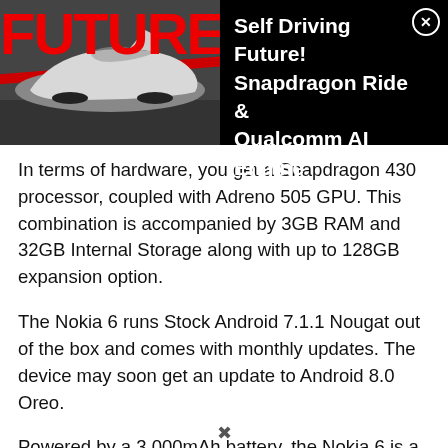[Figure (screenshot): Advertisement banner showing a futuristic car magazine cover with 'FUTURE' text in red and an image of a concept car. The ad text reads 'Self Driving Future! Snapdragon Ride & Qualcomm AI Engine' on a black background with a close (X) button.]
In terms of hardware, you get a Snapdragon 430 processor, coupled with Adreno 505 GPU. This combination is accompanied by 3GB RAM and 32GB Internal Storage along with up to 128GB expansion option.
The Nokia 6 runs Stock Android 7.1.1 Nougat out of the box and comes with monthly updates. The device may soon get an update to Android 8.0 Oreo.
Powered by a 3,000mAh battery, the Nokia 6 is a dual